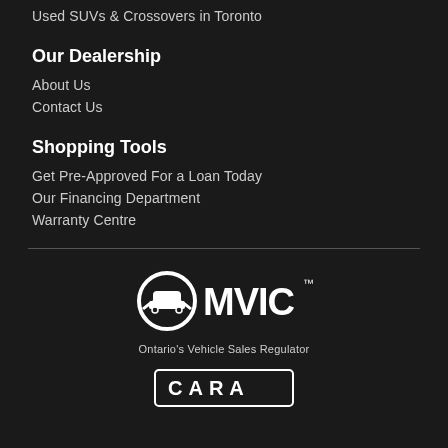Used SUVs & Crossovers in Toronto
Our Dealership
About Us
Contact Us
Shopping Tools
Get Pre-Approved For a Loan Today
Our Financing Department
Warranty Centre
[Figure (logo): OMVIC logo — Ontario's Vehicle Sales Regulator]
[Figure (logo): CARA logo badge (partially visible at bottom)]